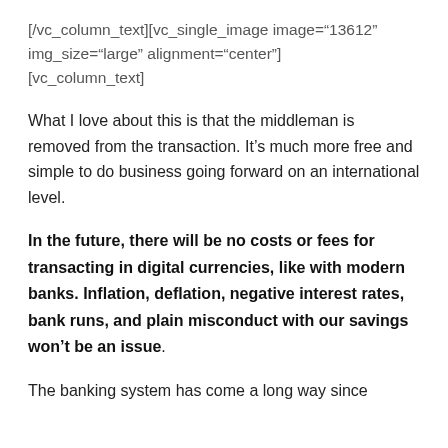[/vc_column_text][vc_single_image image="13612" img_size="large" alignment="center"] [vc_column_text]
What I love about this is that the middleman is removed from the transaction. It’s much more free and simple to do business going forward on an international level.
In the future, there will be no costs or fees for transacting in digital currencies, like with modern banks. Inflation, deflation, negative interest rates, bank runs, and plain misconduct with our savings won’t be an issue.
The banking system has come a long way since